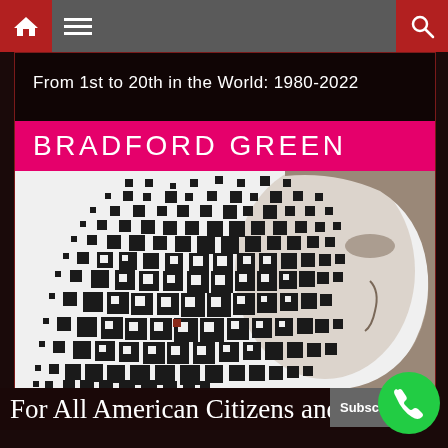Navigation bar with home, menu, and search icons
[Figure (illustration): Book cover for 'Bradford Green' titled 'From 1st to 20th in the World: 1980-2022'. Features a pink/magenta band with the author name 'BRADFORD GREEN' in white letters, and a black-and-white pixel art dissolve effect showing a side profile of a man's face against a white background.]
For All American Citizens and...
Subscribe
Terms